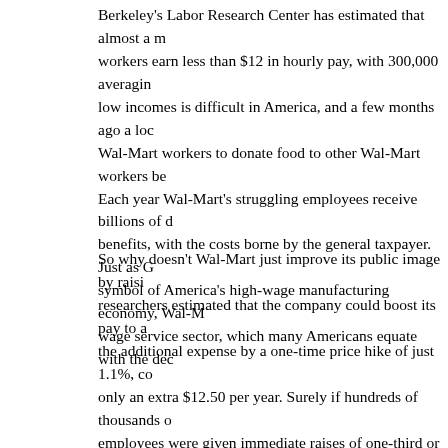Berkeley's Labor Research Center has estimated that almost a million workers earn less than $12 in hourly pay, with 300,000 averaging low incomes is difficult in America, and a few months ago a local Wal-Mart workers to donate food to other Wal-Mart workers be Each year Wal-Mart's struggling employees receive billions of benefits, with the costs borne by the general taxpayer. Just as G symbol of America's high-wage manufacturing economy, Wal-M wage service sector, which many Americans equate with the dec
So why doesn't Wal-Mart just improve its public image by raisi researchers estimated that the company could boost its pay to a the additional expense by a one-time price hike of just 1.1%, co only an extra $12.50 per year. Surely if hundreds of thousands of employees were given immediate raises of one-third or more, th performing their jobs with greater diligence and lower turn-over Ford doubled the wages of his assembly-line workers, providing the cars they themselves produced and helping to create the grea twentieth century. Wal-Mart workers are also Wal-Mart shopper they might receive would go right back to the company that pai